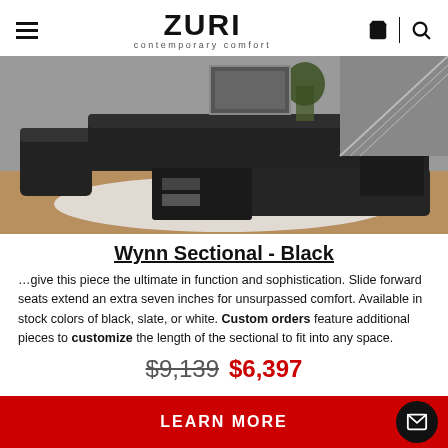Zuri contemporary comfort
[Figure (photo): Large black leather L-shaped/U-shaped sectional sofa in a modern living room with wood floors, white rug, dark coffee table with open shelves, staircase in background, plants and framed art on walls.]
Wynn Sectional - Black
…give this piece the ultimate in function and sophistication. Slide forward seats extend an extra seven inches for unsurpassed comfort. Available in stock colors of black, slate, or white. Custom orders feature additional pieces to customize the length of the sectional to fit into any space.
$9,139  $6,397
LEARN MORE